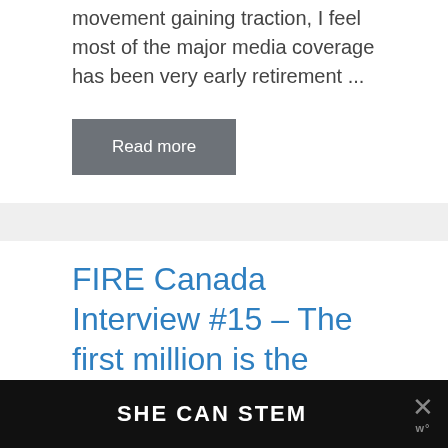movement gaining traction, I feel most of the major media coverage has been very early retirement ...
Read more
FIRE Canada Interview #15 – The first million is the hardest
[Figure (photo): Advertisement banner with dark background showing text 'SHE CAN STEM' with a close button (X) and a logo icon on the right.]